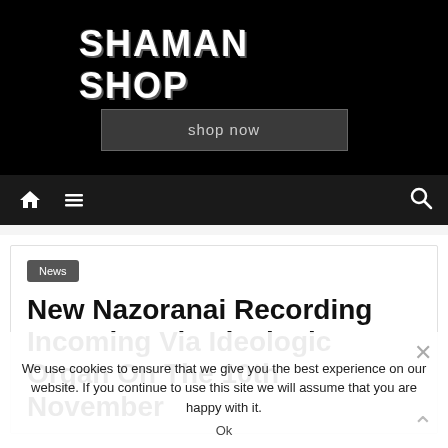[Figure (screenshot): Shaman Shop advertisement banner with bold white distressed text reading 'SHAMAN SHOP' on black background, with a 'shop now' button below]
Navigation bar with home icon, menu icon, and search icon on dark background
News
New Nazoranai Recording Incoming Via Ideologic Organ On The 10th November
We use cookies to ensure that we give you the best experience on our website. If you continue to use this site we will assume that you are happy with it.
Ok